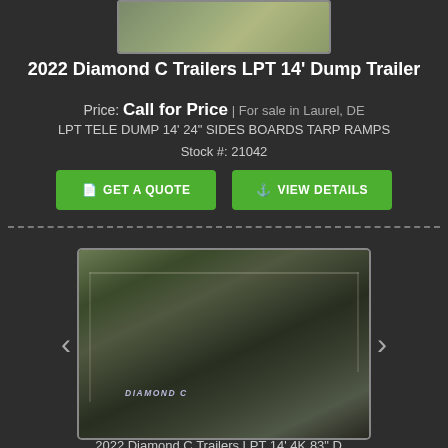[Figure (photo): Partial top view of a dump trailer, cropped at top of page]
2022 Diamond C Trailers LPT 14' Dump Trailer
Price: Call for Price | For sale in Laurel, DE
LPT TELE DUMP 14' 24" SIDES BOARDS TARP RAMPS
Stock #: 21042
GET A QUOTE
VIEW DETAILS
[Figure (photo): Diamond C dump trailer shown from the side with bed tilted, parked on grass. Logo 'Diamond C' visible on the trailer bed.]
2022 Diamond C Trailers LPT 14' 4K 83" D...